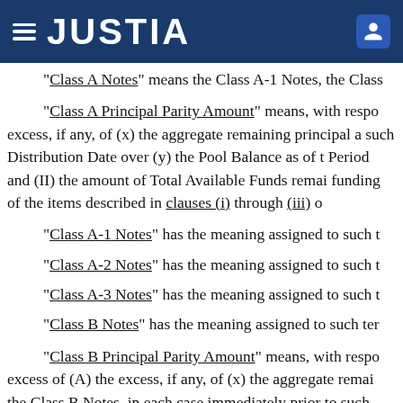JUSTIA
"Class A Notes" means the Class A-1 Notes, the Class
"Class A Principal Parity Amount" means, with respect to excess, if any, of (x) the aggregate remaining principal amount as of such Distribution Date over (y) the Pool Balance as of that Period and (II) the amount of Total Available Funds remaining after funding of the items described in clauses (i) through (iii) of
"Class A-1 Notes" has the meaning assigned to such t
"Class A-2 Notes" has the meaning assigned to such t
"Class A-3 Notes" has the meaning assigned to such t
"Class B Notes" has the meaning assigned to such ter
"Class B Principal Parity Amount" means, with respect to excess of (A) the excess, if any, of (x) the aggregate remaining the Class B Notes, in each case immediately prior to such